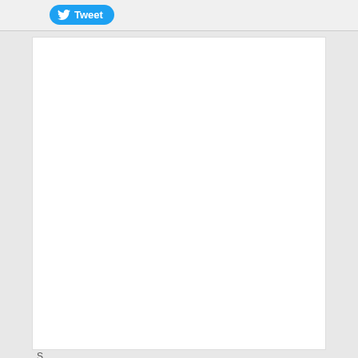[Figure (screenshot): Twitter Tweet button with blue background and bird icon]
[Figure (photo): Large white image placeholder box]
S
E
IMAGE   VIDEO   AUDIO
Push that ice-cold drink aside this summer and opt for a hot Moroccan tea, Chinese soup or chilli-filled dish to break into a sweat and really cool your body down.